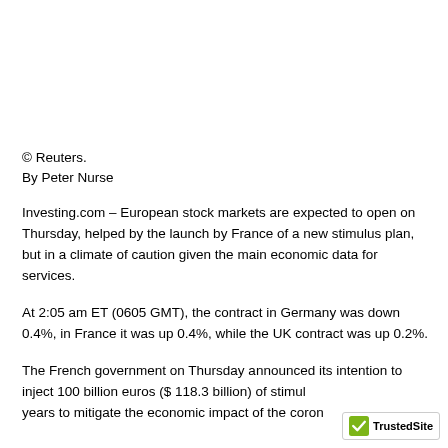© Reuters.
By Peter Nurse
Investing.com – European stock markets are expected to open on Thursday, helped by the launch by France of a new stimulus plan, but in a climate of caution given the main economic data for services.
At 2:05 am ET (0605 GMT), the contract in Germany was down 0.4%, in France it was up 0.4%, while the UK contract was up 0.2%.
The French government on Thursday announced its intention to inject 100 billion euros ($ 118.3 billion) of stimul… years to mitigate the economic impact of the coron…